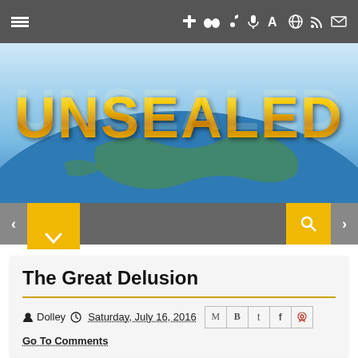[Figure (screenshot): Website navigation bar with hamburger menu on left and icons (cross, binoculars, music note, microphone, letter A, globe, RSS, mail) on right, dark gray background]
[Figure (illustration): UNSEALED website banner logo - gold metallic 3D text 'UNSEALED' over a globe/earth image with blue sky background]
[Figure (screenshot): Secondary navigation bar with yellow tabs on left and right, dark gray center, left/right arrow navigation buttons]
The Great Delusion
Dolley  Saturday, July 16, 2016  Go To Comments
The Great Delusion is Manifesting Right Now